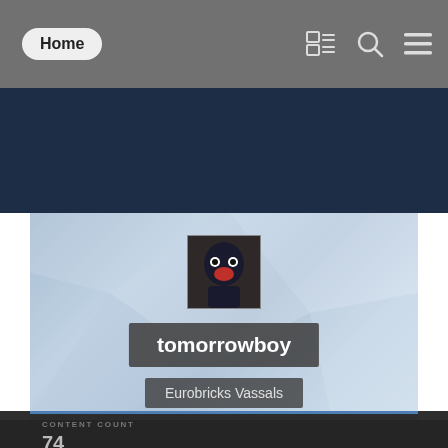[Figure (screenshot): Navigation bar with Home button and icons for feed, search, and menu on gray background]
[Figure (screenshot): Dark navy blue banner/header area]
[Figure (screenshot): User profile area with polygonal light-blue background, avatar image, username 'tomorrowboy', and group 'Eurobricks Vassals']
tomorrowboy
Eurobricks Vassals
CONTENT COUNT
74